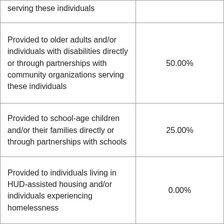| Description | Percentage |
| --- | --- |
| serving these individuals |  |
| Provided to older adults and/or individuals with disabilities directly or through partnerships with community organizations serving these individuals | 50.00% |
| Provided to school-age children and/or their families directly or through partnerships with schools | 25.00% |
| Provided to individuals living in HUD-assisted housing and/or individuals experiencing homelessness | 0.00% |